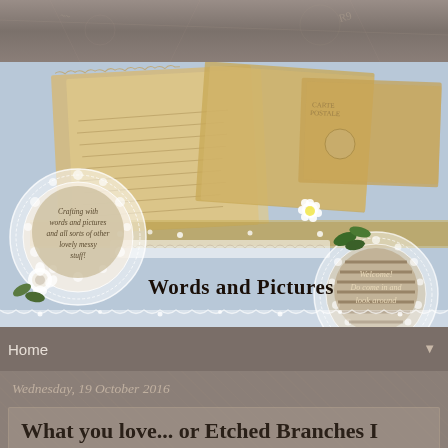[Figure (illustration): Top decorative strip with vintage map/parchment texture in brown-grey tones]
[Figure (illustration): Blog banner with light blue background, vintage parchment papers, handwritten letters, lace doily circles, floral elements, white roses, and green leaves. Left doily reads 'Crafting with words and pictures and all sorts of other lovely messy stuff!' Right doily reads 'Welcome! Do come in and look around'. Center text reads 'Words and Pictures'.]
Home
Wednesday, 19 October 2016
What you love... or Etched Branches I
Hello all!  I'm here with the first of a couple of nature pages in my small journalling book (see Away She Went... for the details if you want them).   Both spreads use the Etched Branches stamp by Penny Black, but I think you get a quite different look in each one.  We're enjoying an Indian Summer here in